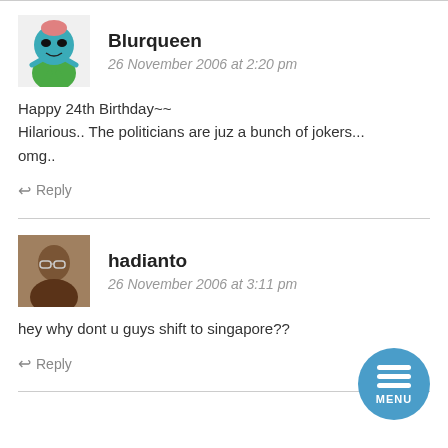[Figure (illustration): Cartoon alien avatar for user Blurqueen]
Blurqueen
26 November 2006 at 2:20 pm
Happy 24th Birthday~~
Hilarious.. The politicians are juz a bunch of jokers...
omg..
↩ Reply
[Figure (photo): Photo avatar for user hadianto]
hadianto
26 November 2006 at 3:11 pm
hey why dont u guys shift to singapore??
↩ Reply